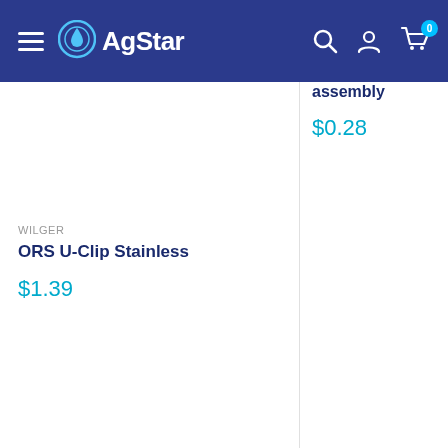AgStar — navigation header with hamburger menu, logo, search, account, and cart icons
assembly
$0.28
WILGER
ORS U-Clip Stainless
$1.39